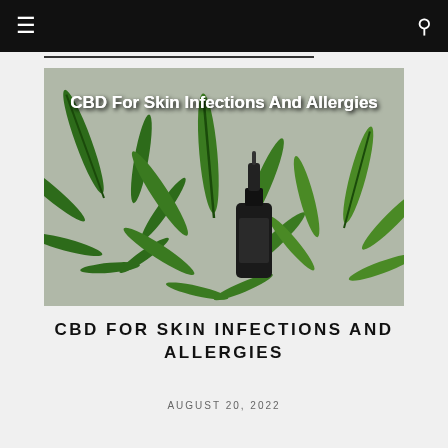☰  🔍
[Figure (photo): Photo of cannabis/hemp leaves spread on a surface alongside a dark dropper bottle of CBD oil, with white overlay text reading 'CBD For Skin Infections And Allergies']
CBD FOR SKIN INFECTIONS AND ALLERGIES
AUGUST 20, 2022